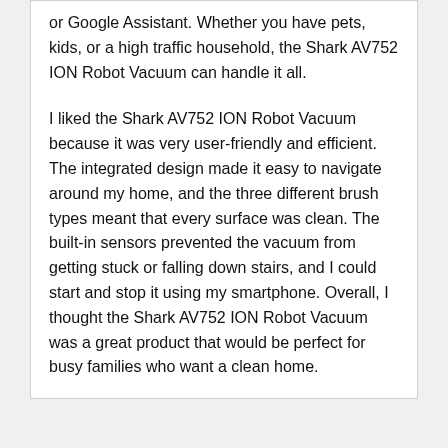or Google Assistant. Whether you have pets, kids, or a high traffic household, the Shark AV752 ION Robot Vacuum can handle it all.
I liked the Shark AV752 ION Robot Vacuum because it was very user-friendly and efficient. The integrated design made it easy to navigate around my home, and the three different brush types meant that every surface was clean. The built-in sensors prevented the vacuum from getting stuck or falling down stairs, and I could start and stop it using my smartphone. Overall, I thought the Shark AV752 ION Robot Vacuum was a great product that would be perfect for busy families who want a clean home.